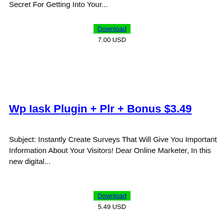Secret For Getting Into Your...
Download
7.00 USD
Wp Iask Plugin + Plr + Bonus $3.49
Subject: Instantly Create Surveys That Will Give You Important Information About Your Visitors! Dear Online Marketer, In this new digital...
Download
5.49 USD